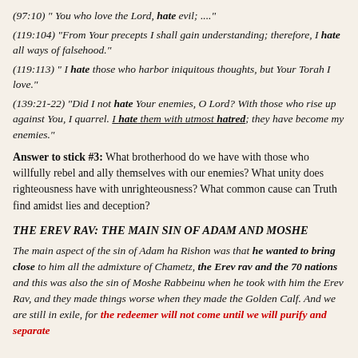(97:10) " You who love the Lord, hate evil; ...."
(119:104) "From Your precepts I shall gain understanding; therefore, I hate all ways of falsehood."
(119:113) " I hate those who harbor iniquitous thoughts, but Your Torah I love."
(139:21-22) "Did I not hate Your enemies, O Lord? With those who rise up against You, I quarrel. I hate them with utmost hatred; they have become my enemies."
Answer to stick #3: What brotherhood do we have with those who willfully rebel and ally themselves with our enemies? What unity does righteousness have with unrighteousness? What common cause can Truth find amidst lies and deception?
THE EREV RAV: THE MAIN SIN OF ADAM AND MOSHE
The main aspect of the sin of Adam ha Rishon was that he wanted to bring close to him all the admixture of Chametz, the Erev rav and the 70 nations and this was also the sin of Moshe Rabbeinu when he took with him the Erev Rav, and they made things worse when they made the Golden Calf. And we are still in exile, for the redeemer will not come until we will purify and separate